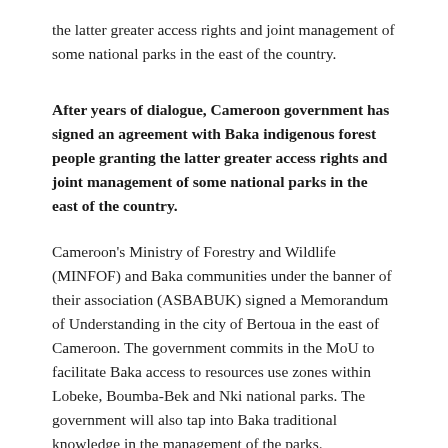the latter greater access rights and joint management of some national parks in the east of the country.
After years of dialogue, Cameroon government has signed an agreement with Baka indigenous forest people granting the latter greater access rights and joint management of some national parks in the east of the country.
Cameroon's Ministry of Forestry and Wildlife (MINFOF) and Baka communities under the banner of their association (ASBABUK) signed a Memorandum of Understanding in the city of Bertoua in the east of Cameroon. The government commits in the MoU to facilitate Baka access to resources use zones within Lobeke, Boumba-Bek and Nki national parks. The government will also tap into Baka traditional knowledge in the management of the parks.